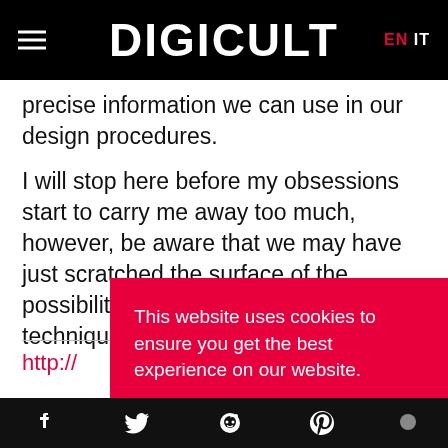DIGICULT  EN  IT
precise information we can use in our design procedures.
I will stop here before my obsessions start to carry me away too much, however, be aware that we may have just scratched the surface of the possibilities that computational design techniques offer, for every stage… curio…
http://…
This website uses cookies to ensure you get the best experience on our website. Learn more Got it